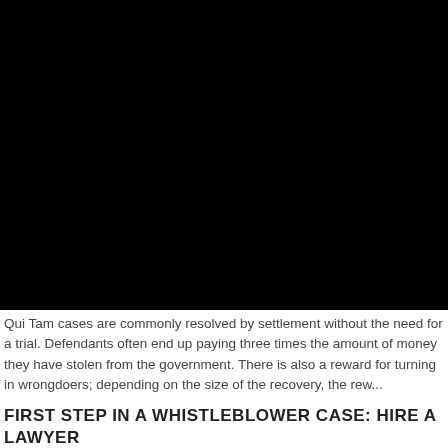[Figure (photo): Large black image area occupying the top portion of the page]
Qui Tam cases are commonly resolved by settlement without the need for a trial. Defendants often end up paying three times the amount of money they have stolen from the government. There is also a reward for turning in wrongdoers; depending on the size of the recovery, the rew...
FIRST STEP IN A WHISTLEBLOWER CASE: HIRE A LAWYER
Calling an experienced whistleblower lawyer is the first and most important step. Whistleblower cases are extremely complex, with nuances that can make or break...